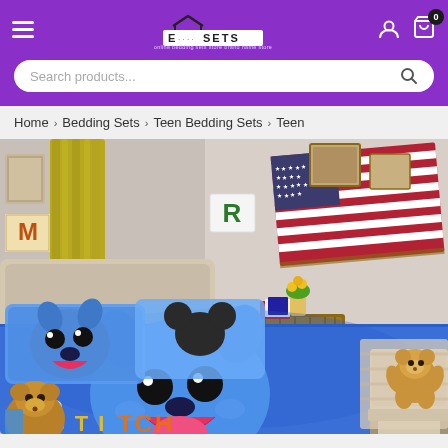E-Sets — online bedding sets store
Search products...
Home › Bedding Sets › Teen Bedding Sets › Teen
[Figure (photo): Product photo of a blue Lilo and Stitch character bedding set displayed on a bed in a teen bedroom with yellow curtains, an American flag throw, teddy bears, and decorative letter flags.]